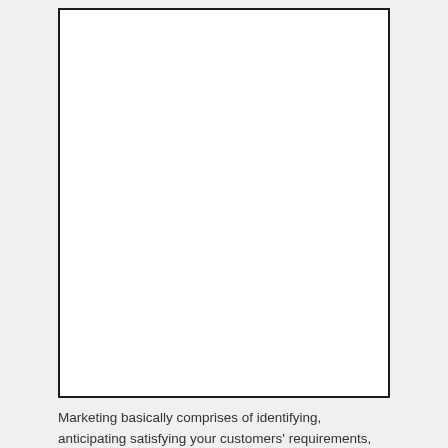[Figure (other): Large blank white rectangle with black border, representing an image placeholder or blank figure area.]
Marketing basically comprises of identifying, anticipating satisfying your customers' requirements, while earning profits for yourself in the process. Marketing strategies are focused on productive